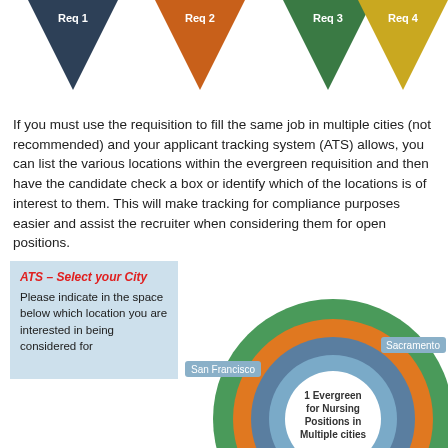[Figure (infographic): Four downward-pointing triangles in dark blue, orange, green, and yellow/gold, labeled Req 1, Req 2, Req 3, Req 4]
If you must use the requisition to fill the same job in multiple cities (not recommended) and your applicant tracking system (ATS) allows, you can list the various locations within the evergreen requisition and then have the candidate check a box or identify which of the locations is of interest to them. This will make tracking for compliance purposes easier and assist the recruiter when considering them for open positions.
[Figure (infographic): ATS Select your City box on left with light blue background. On right: concentric circles diagram with green outer ring, orange ring, steel blue ring, lighter blue ring, white center labeled '1 Evergreen for Nursing Positions in Multiple cities'. Labels: Sacramento (right), San Francisco (left).]